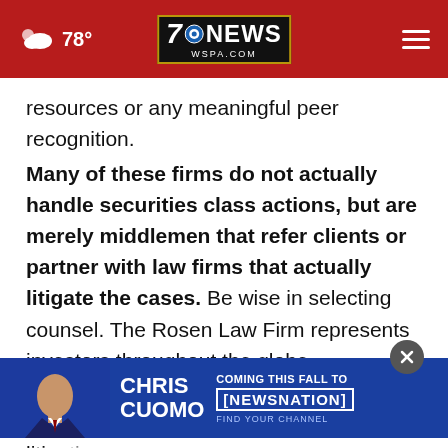78° | 7NEWS WSPA.COM
resources or any meaningful peer recognition.
Many of these firms do not actually handle securities class actions, but are merely middlemen that refer clients or partner with law firms that actually litigate the cases. Be wise in selecting counsel. The Rosen Law Firm represents investors throughout the globe, concentrating its practice in securities class actions and shareholder derivative litigation.
Rosen ... securities class action settlements against a
[Figure (screenshot): Advertisement banner: Chris Cuomo Coming This Fall to NewsNation, with photo of Chris Cuomo]